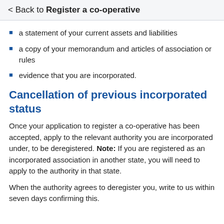< Back to Register a co-operative
a statement of your current assets and liabilities
a copy of your memorandum and articles of association or rules
evidence that you are incorporated.
Cancellation of previous incorporated status
Once your application to register a co-operative has been accepted, apply to the relevant authority you are incorporated under, to be deregistered. Note: If you are registered as an incorporated association in another state, you will need to apply to the authority in that state.
When the authority agrees to deregister you, write to us within seven days confirming this.